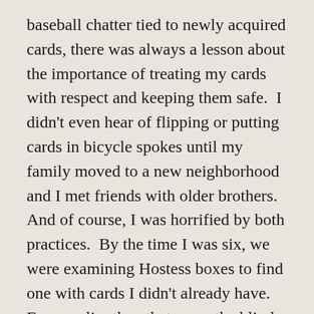baseball chatter tied to newly acquired cards, there was always a lesson about the importance of treating my cards with respect and keeping them safe.  I didn't even hear of flipping or putting cards in bicycle spokes until my family moved to a new neighborhood and I met friends with older brothers.  And of course, I was horrified by both practices.  By the time I was six, we were examining Hostess boxes to find one with cards I didn't already have.  Even earlier than that came the blind hunt for Kellogg's cereal cards.  New packs were always the most fun, though.  Whether they were picked out during a trip to buy the Sunday newspaper on the way home from church, or left by the Easter Bunny or Santa, packs were